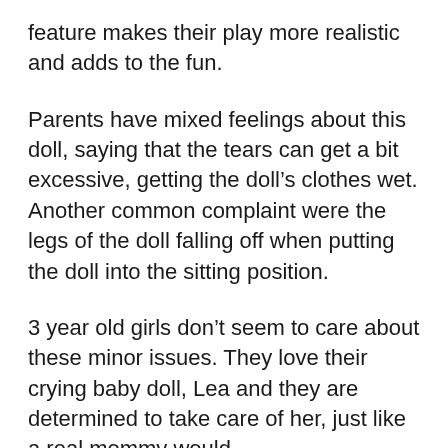feature makes their play more realistic and adds to the fun.
Parents have mixed feelings about this doll, saying that the tears can get a bit excessive, getting the doll’s clothes wet. Another common complaint were the legs of the doll falling off when putting the doll into the sitting position.
3 year old girls don’t seem to care about these minor issues. They love their crying baby doll, Lea and they are determined to take care of her, just like a real mommy would.
Don’t believe us? Here are some parent reviews: